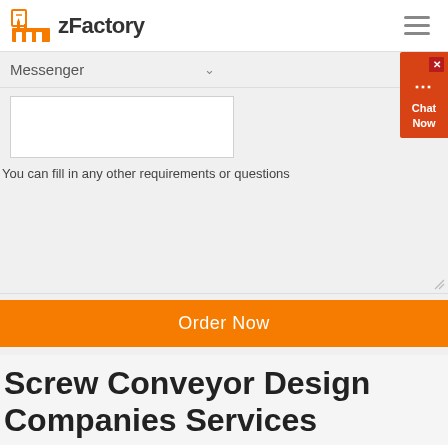zFactory
Messenger
You can fill in any other requirements or questions
Order Now
Screw Conveyor Design Companies Services